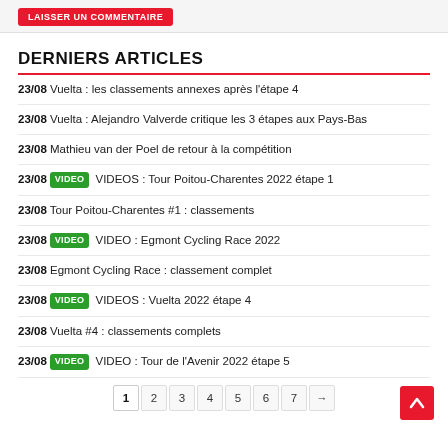[Figure (other): Red button partially visible at top]
DERNIERS ARTICLES
23/08 Vuelta : les classements annexes après l'étape 4
23/08 Vuelta : Alejandro Valverde critique les 3 étapes aux Pays-Bas
23/08 Mathieu van der Poel de retour à la compétition
23/08 VIDEO VIDEOS : Tour Poitou-Charentes 2022 étape 1
23/08 Tour Poitou-Charentes #1 : classements
23/08 VIDEO VIDEO : Egmont Cycling Race 2022
23/08 Egmont Cycling Race : classement complet
23/08 VIDEO VIDEOS : Vuelta 2022 étape 4
23/08 Vuelta #4 : classements complets
23/08 VIDEO VIDEO : Tour de l'Avenir 2022 étape 5
1 2 3 4 5 6 7 →